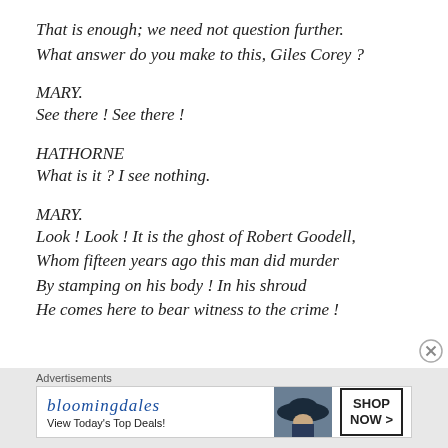That is enough; we need not question further.
What answer do you make to this, Giles Corey ?
MARY.
See there ! See there !
HATHORNE
What is it ? I see nothing.
MARY.
Look ! Look ! It is the ghost of Robert Goodell,
Whom fifteen years ago this man did murder
By stamping on his body ! In his shroud
He comes here to bear witness to the crime !
[Figure (other): Bloomingdale's advertisement banner with logo, 'View Today's Top Deals!' text, woman with hat image, and SHOP NOW > button]